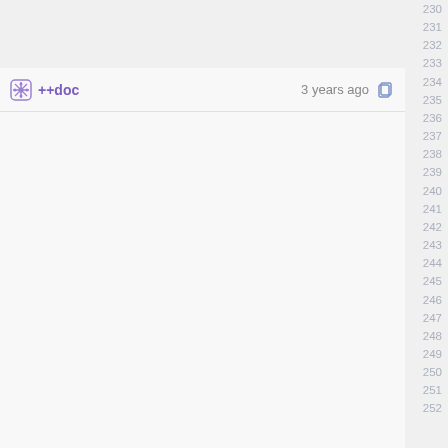++doc   3 years ago
230 231 232 233 234 235 236 237 238 239 240 241 242 243 244 245 246 247 248 249 250 251 252